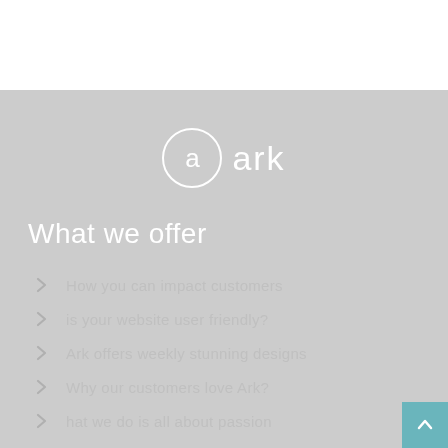[Figure (logo): Ark logo: circle with letter 'a' and text 'ark' in white on gray background]
What we offer
How you can impact customers
is your website user friendly?
Ark offers weekly stunning designs
Why our customers love Ark?
hat we do is all about passion